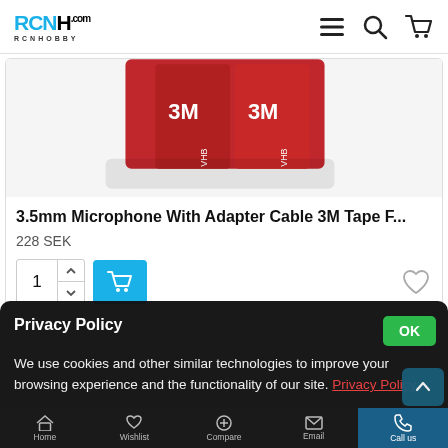RCNHOBBY
[Figure (photo): Product image showing red 3M tape pieces on white background, partially cropped]
3.5mm Microphone With Adapter Cable 3M Tape F...
228 SEK
Quantity selector showing 1, with add to cart button and wishlist heart icon
Privacy Policy
We use cookies and other similar technologies to improve your browsing experience and the functionality of our site. Privacy Policy.
Home | Wishlist | Compare | Email | Call us